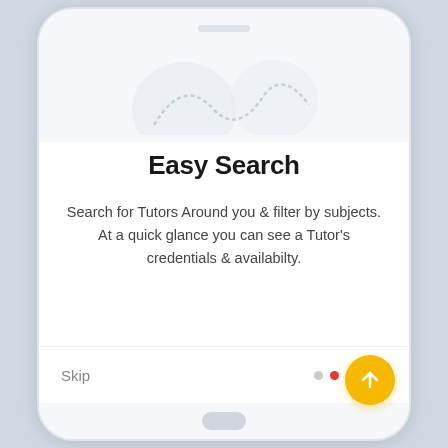[Figure (screenshot): Mobile app onboarding screen showing a phone mockup with illustration area at top, 'Easy Search' title, descriptive text, Skip link, pagination dots, and a yellow circular next button]
Easy Search
Search for Tutors Around you & filter by subjects. At a quick glance you can see a Tutor's credentials & availabilty.
Skip
• • • • •  (second dot active/red)